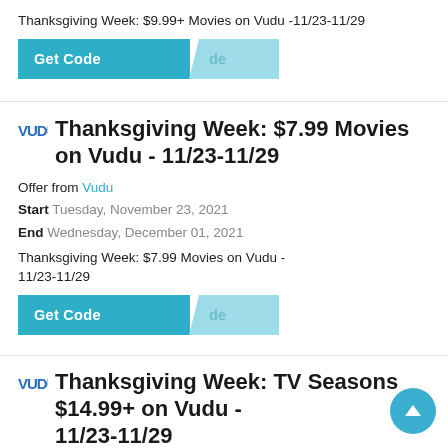Thanksgiving Week: $9.99+ Movies on Vudu -11/23-11/29
[Figure (other): Get Code button with teal background and overlapping arrow/shadow element]
Thanksgiving Week: $7.99 Movies on Vudu - 11/23-11/29
Offer from Vudu
Start Tuesday, November 23, 2021
End Wednesday, December 01, 2021
Thanksgiving Week: $7.99 Movies on Vudu - 11/23-11/29
[Figure (other): Get Code button with teal background and overlapping arrow/shadow element]
Thanksgiving Week: TV Seasons $14.99+ on Vudu - 11/23-11/29